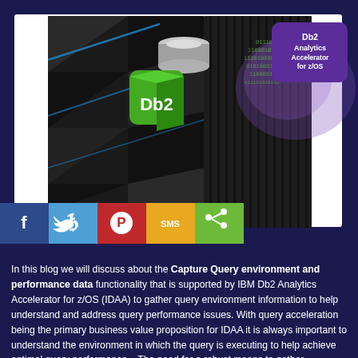[Figure (photo): IBM mainframe computer (z-series) with Db2 green logo icon and 'Db2 Analytics Accelerator for z/OS' purple badge overlaid on top right, with binary code in background. Below the image are social sharing buttons: Facebook (dark blue), Twitter (light blue), Pinterest (red), SMS (yellow/orange), Share (green).]
In this blog we will discuss about the Capture Query environment and performance data functionality that is supported by IBM Db2 Analytics Accelerator for z/OS (IDAA) to gather query environment information to help understand and address query performance issues. With query acceleration being the primary business value proposition for IDAA it is always important to understand the environment in which the query is executing to help achieve optimal query performance .  The need for a robust means to gather information about the environment in which queries execute is amplified